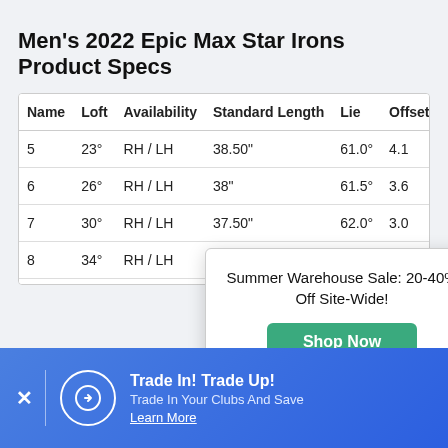Men's 2022 Epic Max Star Irons Product Specs
| Name | Loft | Availability | Standard Length | Lie | Offset (mm) |
| --- | --- | --- | --- | --- | --- |
| 5 | 23° | RH / LH | 38.50" | 61.0° | 4.1 |
| 6 | 26° | RH / LH | 38" | 61.5° | 3.6 |
| 7 | 30° | RH / LH | 37.50" | 62.0° | 3.0 |
| 8 | 34° | RH / LH | … | … | … |
| 9 | 38° | RH / LH | … | … | … |
| PW | 42° | RH / LH | … | … | … |
Summer Warehouse Sale: 20-40% Off Site-Wide!
Trade In! Trade Up! Trade In Your Clubs And Save
Learn More